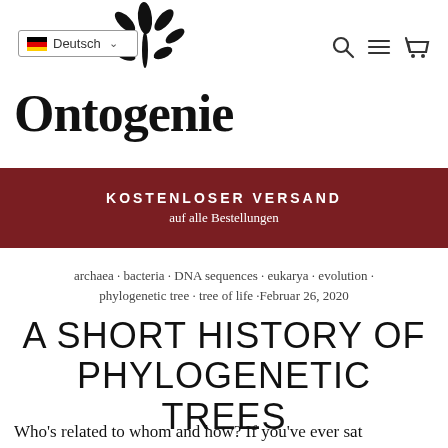[Figure (logo): Ontogenie website header with plant/leaf logo SVG, language selector showing German flag and 'Deutsch', navigation icons (search, menu, cart), and brand name 'Ontogenie' in large serif font]
KOSTENLOSER VERSAND
auf alle Bestellungen
archaea · bacteria · DNA sequences · eukarya · evolution · phylogenetic tree · tree of life ·Februar 26, 2020
A SHORT HISTORY OF PHYLOGENETIC TREES
Who's related to whom and how? If you've ever sat